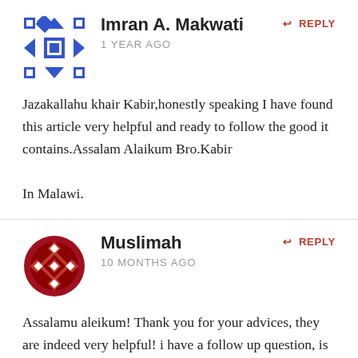Imran A. Makwati
1 YEAR AGO
REPLY
Jazakallahu khair Kabir,honestly speaking I have found this article very helpful and ready to follow the good it contains.Assalam Alaikum Bro.Kabir

In Malawi.
Muslimah
10 MONTHS AGO
REPLY
Assalamu aleikum! Thank you for your advices, they are indeed very helpful! i have a follow up question, is it allowed to write a proposal letter via twitter/fb to a guy whom i never met but would like to marry? or is it better to ask mahram to create a